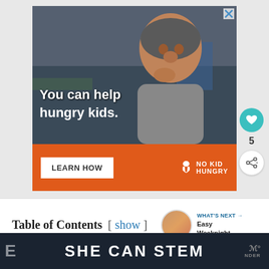[Figure (photo): Advertisement banner for No Kid Hungry charity. Shows a young Asian boy eating in a classroom with text overlay 'You can help hungry kids.' and an orange bar with 'LEARN HOW' button and No Kid Hungry logo.]
Table of Contents  [ show ]
WHAT'S NEXT → Easy Weeknight...
SHE CAN STEM